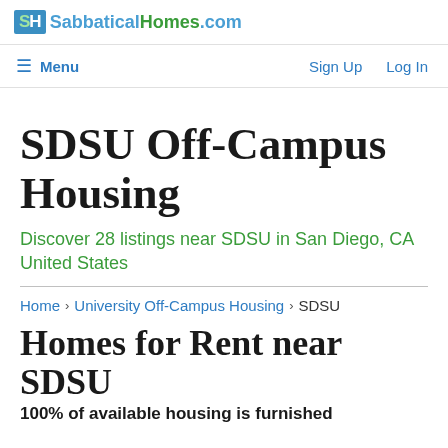SabbaticalHomes.com
Menu   Sign Up   Log In
SDSU Off-Campus Housing
Discover 28 listings near SDSU in San Diego, CA United States
Home › University Off-Campus Housing › SDSU
Homes for Rent near SDSU
100% of available housing is furnished